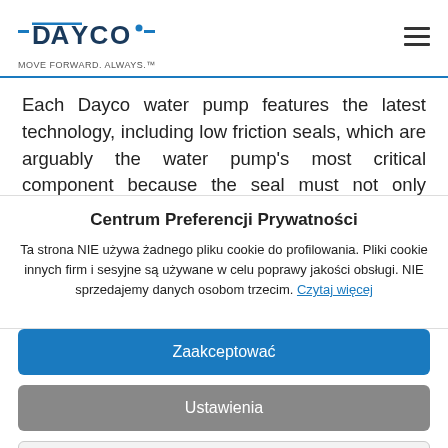DAYCO — MOVE FORWARD. ALWAYS.™
Each Dayco water pump features the latest technology, including low friction seals, which are arguably the water pump's most critical component because the seal must not only prevent coolant leakage, but also providing servicing life-as a minimum the longest critical possible... and service in
Centrum Preferencji Prywatności
Ta strona NIE używa żadnego pliku cookie do profilowania. Pliki cookie innych firm i sesyjne są używane w celu poprawy jakości obsługi. NIE sprzedajemy danych osobom trzecim. Czytaj więcej
Zaakceptować
Ustawienia
Odrzucać